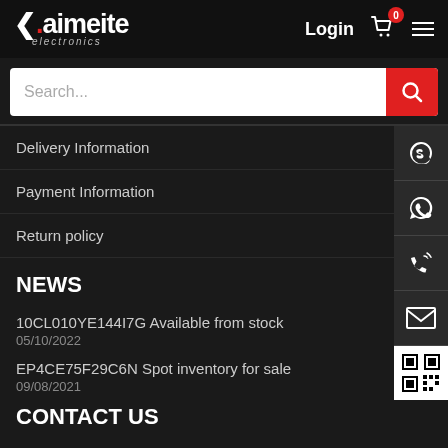[Figure (logo): Kaimeite electronics logo with red dot and arrow]
Login
Search...
Delivery Information
Payment Information
Return policy
NEWS
10CL010YE144I7G Available from stock
05/10/2022
EP4CE75F29C6N Spot inventory for sale
09/08/2021
CONTACT US